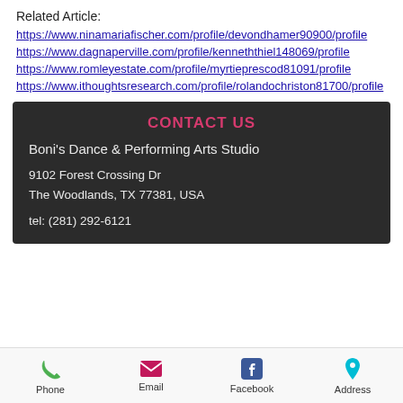Related Article:
https://www.ninamariafischer.com/profile/devondhamer90900/profile
https://www.dagnaperville.com/profile/kenneththiel148069/profile
https://www.romleyestate.com/profile/myrtieprescod81091/profile
https://www.ithoughtsresearch.com/profile/rolandochriston81700/profile
CONTACT US
Boni's Dance & Performing Arts Studio
9102 Forest Crossing Dr
The Woodlands, TX 77381, USA
tel: (281) 292-6121
Phone  Email  Facebook  Address